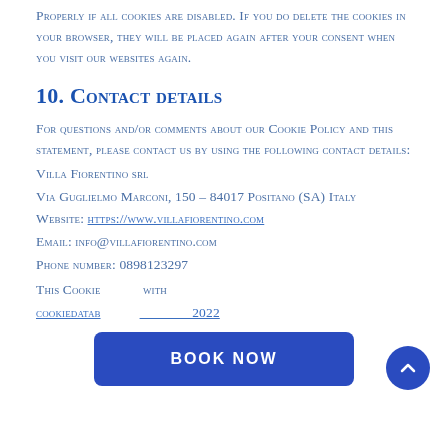PROPERLY IF ALL COOKIES ARE DISABLED. IF YOU DO DELETE THE COOKIES IN YOUR BROWSER, THEY WILL BE PLACED AGAIN AFTER YOUR CONSENT WHEN YOU VISIT OUR WEBSITES AGAIN.
10. Contact details
FOR QUESTIONS AND/OR COMMENTS ABOUT OUR COOKIE POLICY AND THIS STATEMENT, PLEASE CONTACT US BY USING THE FOLLOWING CONTACT DETAILS:
Villa Fiorentino srl
Via Guglielmo Marconi, 150 – 84017 Positano (SA) Italy
Website: https://www.villafiorentino.com
Email: info@villafiorentino.com
Phone number: 0898123297
This Cookie ... with cookiedata... 2022